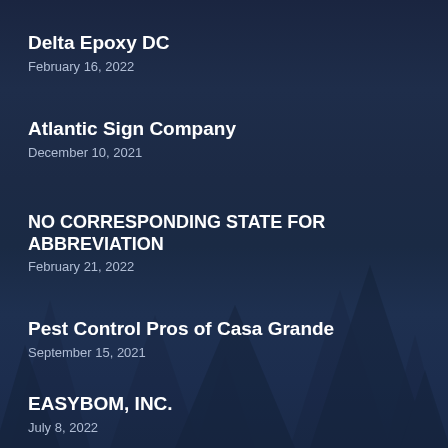Delta Epoxy DC
February 16, 2022
Atlantic Sign Company
December 10, 2021
NO CORRESPONDING STATE FOR ABBREVIATION
February 21, 2022
Pest Control Pros of Casa Grande
September 15, 2021
EASYBOM, INC.
July 8, 2022